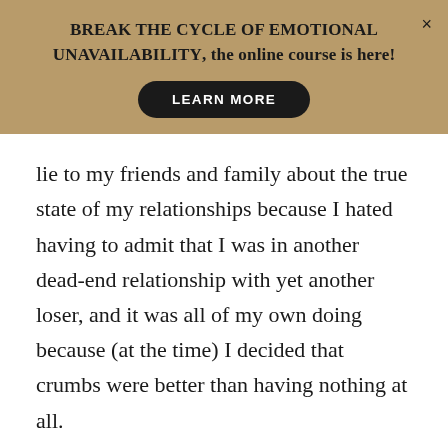[Figure (infographic): Promotional banner with tan/khaki background. Heading text: 'BREAK THE CYCLE OF EMOTIONAL UNAVAILABILITY, the online course is here!' with a black 'LEARN MORE' button and an X close button.]
lie to my friends and family about the true state of my relationships because I hated having to admit that I was in another dead-end relationship with yet another loser, and it was all of my own doing because (at the time) I decided that crumbs were better than having nothing at all.
The turning point for me was when